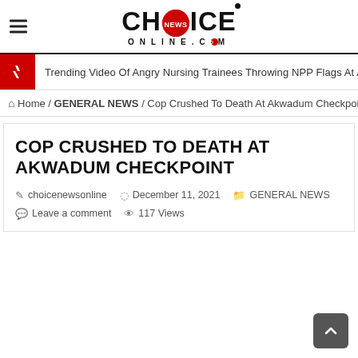CHOICE NEWS ONLINE.COM
Trending Video Of Angry Nursing Trainees Throwing NPP Flags At Akufo-Ad...
Home / GENERAL NEWS / Cop Crushed To Death At Akwadum Checkpoint
COP CRUSHED TO DEATH AT AKWADUM CHECKPOINT
choicenewsonline   December 11, 2021   GENERAL NEWS   Leave a comment   117 Views